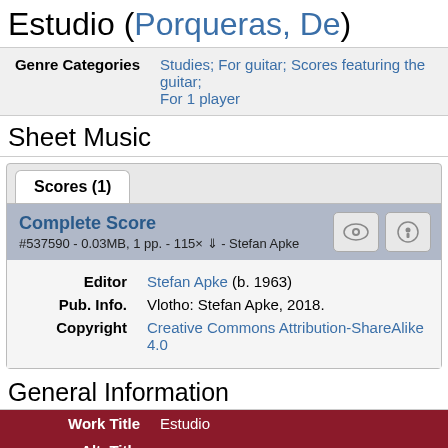Estudio (Porqueras, De)
| Genre Categories |  |
| --- | --- |
| Genre Categories | Studies; For guitar; Scores featuring the guitar; For 1 player |
Sheet Music
Scores (1)
Complete Score
#537590 - 0.03MB, 1 pp. - 115× - Stefan Apke
| Editor | Pub. Info. | Copyright |
| --- | --- | --- |
| Editor | Stefan Apke (b. 1963) |
| Pub. Info. | Vlotho: Stefan Apke, 2018. |
| Copyright | Creative Commons Attribution-ShareAlike 4.0 |
General Information
| Work Title | Alt. Title |
| --- | --- |
| Work Title | Estudio |
| Alt. Title |  |